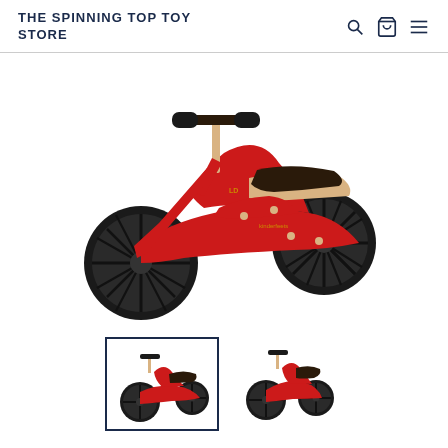THE SPINNING TOP TOY STORE
[Figure (photo): A red and natural wood children's balance bike / tricycle (Kinderfeets Tiny Tot) with black wheels and dark handlebar grips, shown in tricycle configuration from a side-front angle.]
[Figure (photo): Thumbnail of the red tricycle (selected, with blue border).]
[Figure (photo): Thumbnail of the same bike in balance bike configuration (no border).]